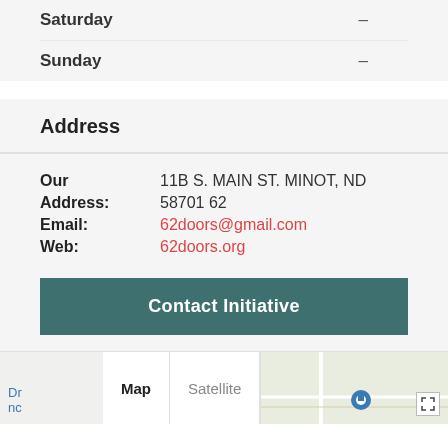| Day | Hours |
| --- | --- |
| Saturday | – |
| Sunday | – |
Address
Our	Address:	Email:	Web:
11B S. MAIN ST. MINOT, ND
58701 62
62doors@gmail.com
62doors.org
Contact Initiative
[Figure (map): Google Maps embed showing location near Minot, ND with map/satellite toggle tabs and a map pin labeled 'History Museum'. Fullscreen button visible in corner.]